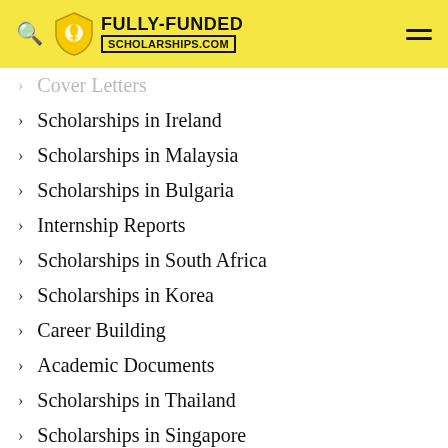FULLY-FUNDED SCHOLARSHIPS.COM
Cover Letters
Scholarships in Ireland
Scholarships in Malaysia
Scholarships in Bulgaria
Internship Reports
Scholarships in South Africa
Scholarships in Korea
Career Building
Academic Documents
Scholarships in Thailand
Scholarships in Singapore
Scholarships in Monaco
Experience Certificates